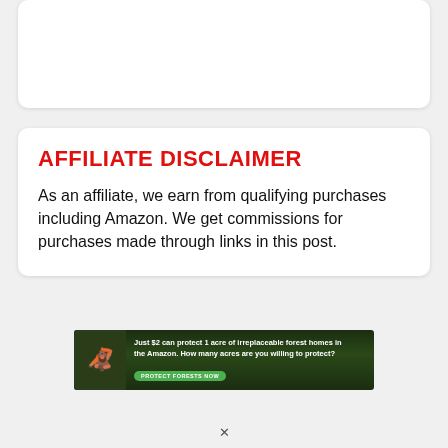AFFILIATE DISCLAIMER
As an affiliate, we earn from qualifying purchases including Amazon. We get commissions for purchases made through links in this post.
[Figure (infographic): Conservation ad banner: green forest background with orangutan image. Text: 'Just $2 can protect 1 acre of irreplaceable forest homes in the Amazon. How many acres are you willing to protect?' with green 'PROTECT FORESTS NOW' button.]